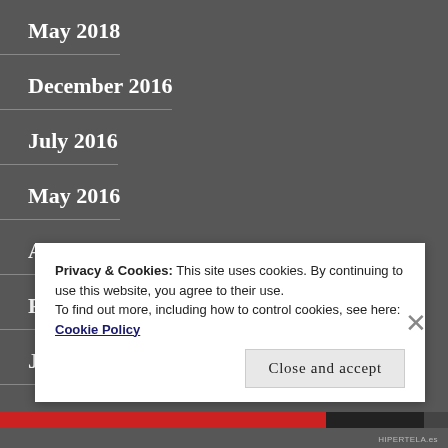May 2018
December 2016
July 2016
May 2016
April 2016
February 2016
January 2016
Privacy & Cookies: This site uses cookies. By continuing to use this website, you agree to their use.
To find out more, including how to control cookies, see here: Cookie Policy
Close and accept